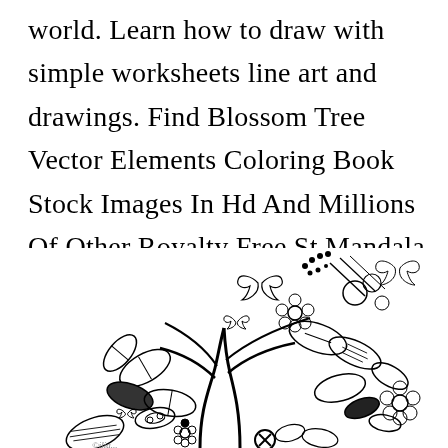world. Learn how to draw with simple worksheets line art and drawings. Find Blossom Tree Vector Elements Coloring Book Stock Images In Hd And Millions Of Other Royalty Free St Mandala Coloring Pages Coloring Books Mandala Coloring.
[Figure (illustration): A black and white coloring book illustration showing a decorative blossom tree with intricate floral and leaf patterns, butterflies, flowers, and swirling botanical elements arranged in a circular mandala-like composition.]